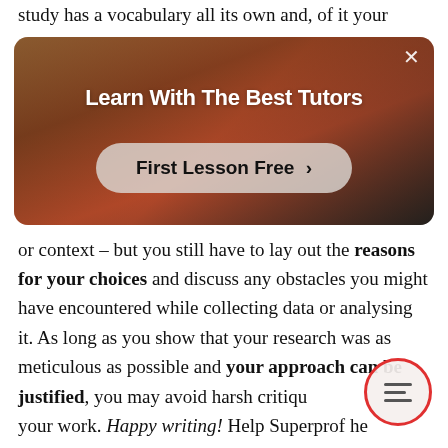study has a vocabulary all its own and, of it your
[Figure (photo): Advertisement banner with a person in a red shirt in a room. Text reads 'Learn With The Best Tutors' with a button 'First Lesson Free >' and a close X button in the top right corner.]
or context – but you still have to lay out the reasons for your choices and discuss any obstacles you might have encountered while collecting data or analysing it. As long as you show that your research was as meticulous as possible and your approach can be justified, you may avoid harsh critique of your work. Happy writing! Help Superprof help others: what advice would you give a doctoral